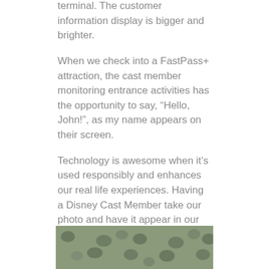terminal. The customer information display is bigger and brighter.
When we check into a FastPass+ attraction, the cast member monitoring entrance activities has the opportunity to say, “Hello, John!”, as my name appears on their screen.
Technology is awesome when it’s used responsibly and enhances our real life experiences. Having a Disney Cast Member take our photo and have it appear in our Disney Parks Photo Stream on our phone 10 minutes later is awesome.
Technology has come a long way since Walt Disney World opened in 1971, apparently using Sweda Model 46 cash registers, as evidenced by this receipt I found online.
[Figure (photo): A partial photo showing a textured green/grey surface, appearing to be the top portion of an image visible at the bottom of the page.]